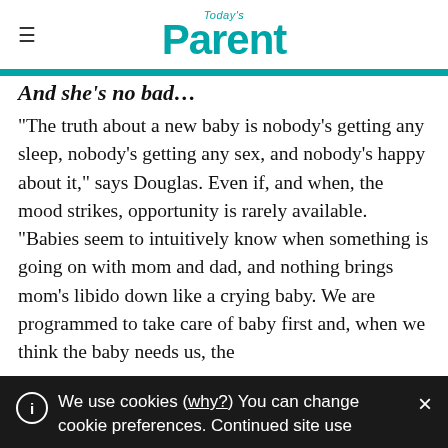Today's Parent
And she's no bad…
“The truth about a new baby is nobody’s getting any sleep, nobody’s getting any sex, and nobody’s happy about it,” says Douglas. Even if, and when, the mood strikes, opportunity is rarely available. “Babies seem to intuitively know when something is going on with mom and dad, and nothing brings mom’s libido down like a crying baby. We are programmed to take care of baby first and, when we think the baby needs us, the
We use cookies (why?) You can change cookie preferences. Continued site use